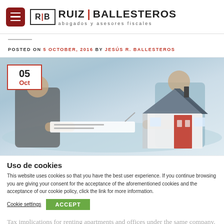[Figure (logo): Ruiz Ballesteros abogados y asesores fiscales logo with R|B monogram in bordered box and hamburger menu button]
POSTED ON 5 OCTOBER, 2016 BY JESÚS R. BALLESTEROS
[Figure (photo): Featured blog post image showing people signing documents at a desk with a miniature house model in the foreground, with a date overlay box showing 05 Oct]
Uso de cookies
This website uses cookies so that you have the best user experience. If you continue browsing you are giving your consent for the acceptance of the aforementioned cookies and the acceptance of our cookie policy, click the link for more information.
Tax implications for renting apartments and offices under the same company. We have often been asked